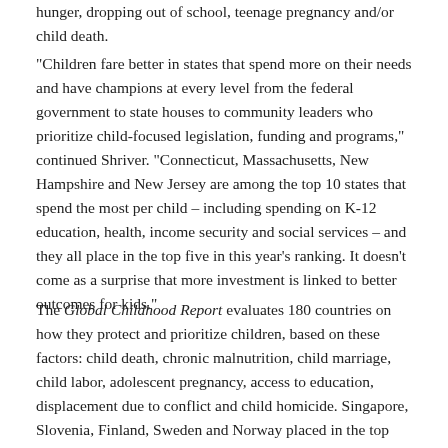hunger, dropping out of school, teenage pregnancy and/or child death.
"Children fare better in states that spend more on their needs and have champions at every level from the federal government to state houses to community leaders who prioritize child-focused legislation, funding and programs," continued Shriver. "Connecticut, Massachusetts, New Hampshire and New Jersey are among the top 10 states that spend the most per child – including spending on K-12 education, health, income security and social services – and they all place in the top five in this year's ranking. It doesn't come as a surprise that more investment is linked to better outcomes for kids."
The Global Childhood Report evaluates 180 countries on how they protect and prioritize children, based on these factors: child death, chronic malnutrition, child marriage, child labor, adolescent pregnancy, access to education, displacement due to conflict and child homicide. Singapore, Slovenia, Finland, Sweden and Norway placed in the top five spots, respectively,